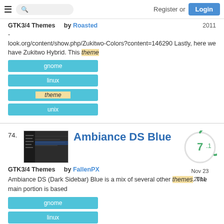Register or Login
GTK3/4 Themes   by Roasted
2011
- look.org/content/show.php/Zukitwo-Colors?content=146290 Lastly, here we have Zukitwo Hybrid. This theme
gnome
linux
theme
unix
74.
[Figure (screenshot): Thumbnail screenshot of Ambiance DS Blue theme showing dark sidebar]
Ambiance DS Blue
[Figure (other): Score badge showing 7.1 in a green circle, dated Nov 23 2011]
GTK3/4 Themes   by FallenPX
Ambiance DS (Dark Sidebar) Blue is a mix of several other themes. The main portion is based
gnome
linux